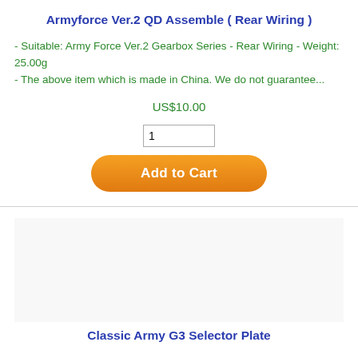Armyforce Ver.2 QD Assemble ( Rear Wiring )
- Suitable: Army Force Ver.2 Gearbox Series - Rear Wiring - Weight: 25.00g
- The above item which is made in China. We do not guarantee...
US$10.00
Classic Army G3 Selector Plate